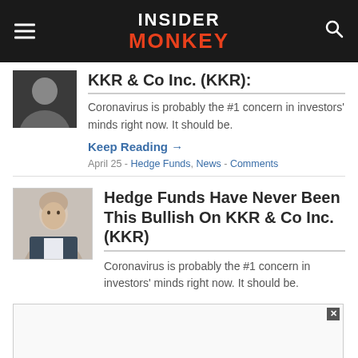INSIDER MONKEY
KKR & Co Inc. (KKR):
Coronavirus is probably the #1 concern in investors' minds right now. It should be.
Keep Reading →
April 25 - Hedge Funds, News - Comments
Hedge Funds Have Never Been This Bullish On KKR & Co Inc. (KKR)
Coronavirus is probably the #1 concern in investors' minds right now. It should be.
[Figure (other): Advertisement box with close button]